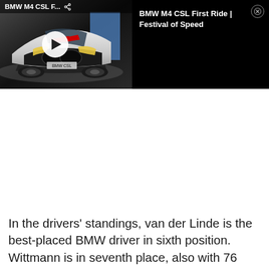[Figure (screenshot): A video overlay widget showing a BMW M4 CSL car thumbnail on the left with a play button, and on the right panel against black background shows title 'BMW M4 CSL First Ride | Festival of Speed' with a close (X) button. The left thumbnail also shows 'BMW M4 CSL F...' with a share icon in the top bar.]
In the drivers' standings, van der Linde is the best-placed BMW driver in sixth position. Wittmann is in seventh place, also with 76 points. The twelfth DTM